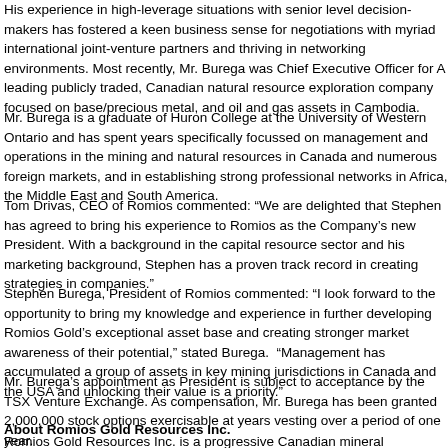His experience in high-leverage situations with senior level decision-makers has fostered a keen business sense for negotiations with myriad international joint-venture partners and thriving in networking environments. Most recently, Mr. Burega was Chief Executive Officer for A leading publicly traded, Canadian natural resource exploration company focused on base/precious metal, and oil and gas assets in Cambodia.
Mr. Burega is a graduate of Huron College at the University of Western Ontario and has spent years specifically focussed on management and operations in the mining and natural resources in Canada and numerous foreign markets, and in establishing strong professional networks in Africa, the Middle East and South America.
Tom Drivas, CEO of Romios commented: “We are delighted that Stephen has agreed to bring his experience to Romios as the Company’s new President. With a background in the capital resource sector and his marketing background, Stephen has a proven track record in creating strategies in companies.”
Stephen Burega, President of Romios commented: “I look forward to the opportunity to bring my knowledge and experience in further developing Romios Gold’s exceptional asset base and creating stronger market awareness of their potential,” stated Burega. “Management has accumulated a group of assets in key mining jurisdictions in Canada and the USA and unlocking their value is a priority.”
Mr. Burega’s appointment as President is subject to acceptance by the TSX Venture Exchange. As compensation, Mr. Burega has been granted 2,000,000 stock options exercisable at years vesting over a period of one year.
About Romios Gold Resources Inc.
Romios Gold Resources Inc. is a progressive Canadian mineral exploration company